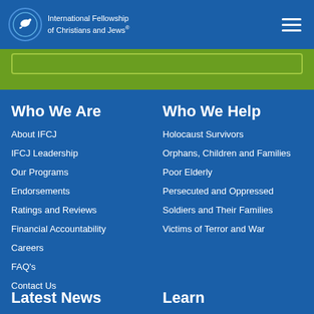International Fellowship of Christians and Jews®
Who We Are
About IFCJ
IFCJ Leadership
Our Programs
Endorsements
Ratings and Reviews
Financial Accountability
Careers
FAQ's
Contact Us
Who We Help
Holocaust Survivors
Orphans, Children and Families
Poor Elderly
Persecuted and Oppressed
Soldiers and Their Families
Victims of Terror and War
Latest News
Learn